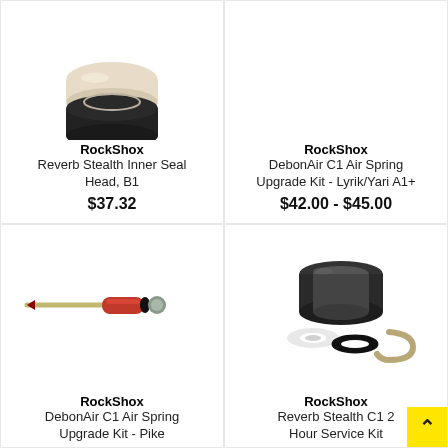[Figure (photo): RockShox Reverb Stealth Inner Seal Head, B1 – cropped photo showing bottom of cylindrical seal part with beige/cream top and black base]
RockShox
Reverb Stealth Inner Seal Head, B1
$37.32
[Figure (photo): RockShox DebonAir C1 Air Spring Upgrade Kit - Lyrik/Yari A1+ – no image visible in this portion]
RockShox
DebonAir C1 Air Spring Upgrade Kit - Lyrik/Yari A1+
$42.00 - $45.00
[Figure (photo): RockShox DebonAir C1 Air Spring Upgrade Kit - Pike – photo of long thin valve/needle tool with red body and silver needle, small black and grey pieces at end]
RockShox
DebonAir C1 Air Spring Upgrade Kit - Pike
[Figure (photo): RockShox Reverb Stealth C1 200 Hour Service Kit – photo showing black cylindrical ring, white washer/spacer, black o-ring, and silver/tan c-clip ring]
RockShox
Reverb Stealth C1 2... Hour Service Kit